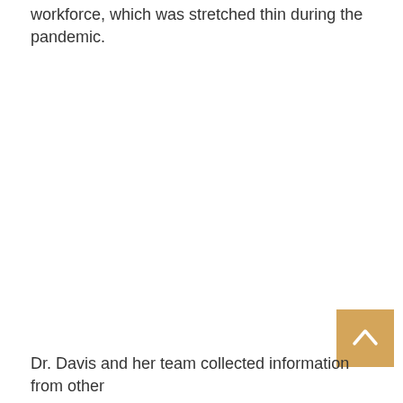workforce, which was stretched thin during the pandemic.
Dr. Davis and her team collected information from other